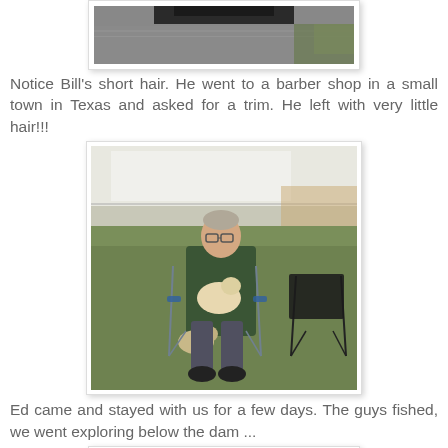[Figure (photo): Bottom portion of a photo showing the undercarriage/hitch of a vehicle or trailer on a gravel surface with greenery in background]
Notice Bill's short hair.  He went to a barber shop in a small town in Texas and asked for a trim.  He left with very little hair!!!
[Figure (photo): A man with short hair and glasses sits in a camping chair on grass, holding a small light-colored dog on his lap. Another small tan dog sits at his feet. A trailer is parked behind him, and an empty camping chair is to the right.]
Ed came and stayed with us for a few days.  The guys fished, we went exploring below the dam ...
[Figure (photo): Partial view of another photo at the bottom of the page, barely visible]